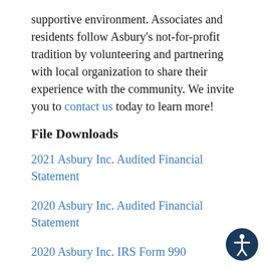supportive environment. Associates and residents follow Asbury’s not-for-profit tradition by volunteering and partnering with local organization to share their experience with the community. We invite you to contact us today to learn more!
File Downloads
2021 Asbury Inc. Audited Financial Statement
2020 Asbury Inc. Audited Financial Statement
2020 Asbury Inc. IRS Form 990
2019 Asbury Inc. IRS Form 990